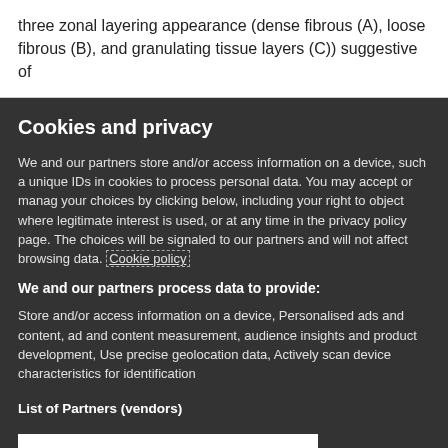three zonal layering appearance (dense fibrous (A), loose fibrous (B), and granulating tissue layers (C)) suggestive of
Cookies and privacy
We and our partners store and/or access information on a device, such a unique IDs in cookies to process personal data. You may accept or manag your choices by clicking below, including your right to object where legitimate interest is used, or at any time in the privacy policy page. The choices will be signaled to our partners and will not affect browsing data. Cookie policy
We and our partners process data to provide:
Store and/or access information on a device, Personalised ads and content, ad and content measurement, audience insights and product development, Use precise geolocation data, Actively scan device characteristics for identification
List of Partners (vendors)